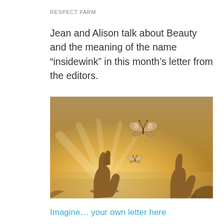RESPECT FARM
Jean and Alison talk about Beauty and the meaning of the name “insidewink” in this month’s letter from the editors.
[Figure (photo): Silhouette of two hands raised upward against a bright golden sunset sky, with two butterflies flying between them — a larger butterfly above and a smaller one below, both backlit by sunlight.]
Imagine… your own letter here